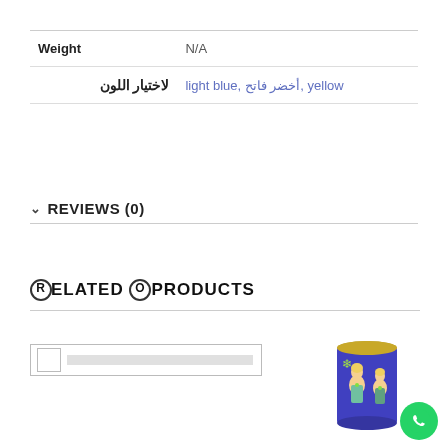| Weight | N/A |
| لاختيار اللون | light blue, أخضر فاتح, yellow |
REVIEWS (0)
RELATED PRODUCTS
[Figure (photo): A purple cylindrical tin can with Frozen cartoon characters (two blonde girls) and green snowflake decorations printed on it, with a gold lid.]
[Figure (logo): WhatsApp green circle icon button in bottom right corner.]